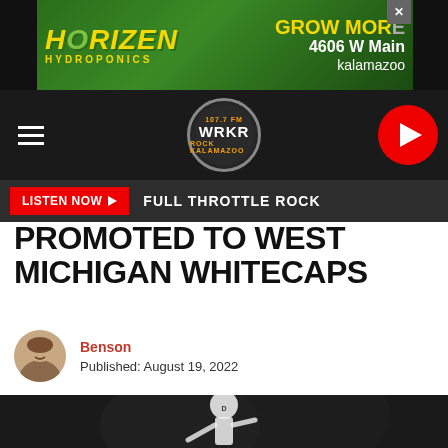[Figure (photo): Horizen Hydroponics advertisement banner: green background with yellow text reading HORIZEN HYDROPONICS, GROW MORE, 4606 W Main, kalamazoo]
[Figure (logo): WRKR 107.7 FM rock radio station logo circular badge on dark navigation bar with hamburger menu and red play button]
LISTEN NOW ▶ FULL THROTTLE ROCK
PROMOTED TO WEST MICHIGAN WHITECAPS
Benson
Published: August 19, 2022
[Figure (photo): Baseball pitcher in white Detroit Tigers uniform and cap mid-windup throwing a pitch, dark netting background]